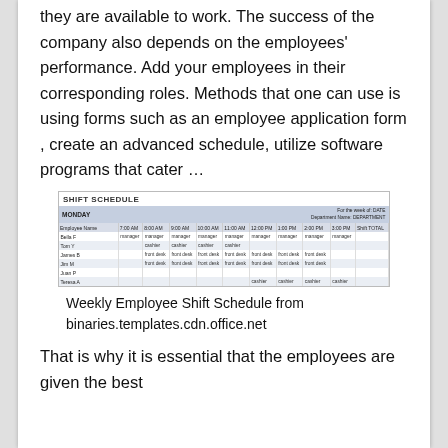they are available to work. The success of the company also depends on the employees' performance. Add your employees in their corresponding roles. Methods that one can use is using forms such as an employee application form , create an advanced schedule, utilize software programs that cater …
[Figure (table-as-image): Shift Schedule table showing MONDAY schedule with employee names (Bella F, Tom Y, James B, Jim M, Juan P, Teresa A) and their roles (manager, cashier, front desk) across time slots from 7:00 AM to 3:00 PM, with header showing For the week of: DATE, Department Name: DEPARTMENT]
Weekly Employee Shift Schedule from binaries.templates.cdn.office.net
That is why it is essential that the employees are given the best